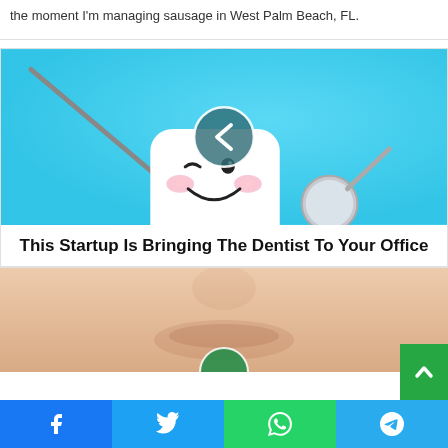the moment I'm managing sausage in West Palm Beach, FL.
[Figure (photo): Cartoon tooth character with a winking face and a dental tool beside it, on a cyan/blue background. A circular navigation button with a left-arrow chevron overlaid in the center.]
This Startup Is Bringing The Dentist To Your Office
[Figure (photo): Close-up of a person's lower face/smile, with a circular navigation button partially visible at the bottom center.]